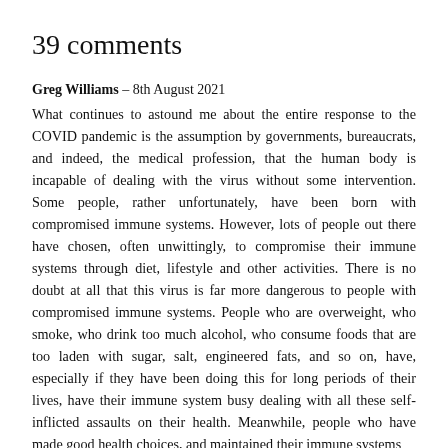39 comments
Greg Williams – 8th August 2021
What continues to astound me about the entire response to the COVID pandemic is the assumption by governments, bureaucrats, and indeed, the medical profession, that the human body is incapable of dealing with the virus without some intervention. Some people, rather unfortunately, have been born with compromised immune systems. However, lots of people out there have chosen, often unwittingly, to compromise their immune systems through diet, lifestyle and other activities. There is no doubt at all that this virus is far more dangerous to people with compromised immune systems. People who are overweight, who smoke, who drink too much alcohol, who consume foods that are too laden with sugar, salt, engineered fats, and so on, have, especially if they have been doing this for long periods of their lives, have their immune system busy dealing with all these self-inflicted assaults on their health. Meanwhile, people who have made good health choices, and maintained their immune systems